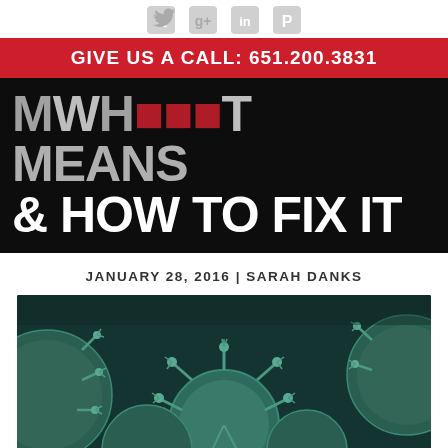Social media icons: Twitter, Google+, LinkedIn, Pinterest
GIVE US A CALL: 651.200.3831
[Figure (illustration): Dark background hero image with bold white uppercase text reading 'WHAT [RED] MEANS & HOW TO FIX IT']
JANUARY 28, 2016 | SARAH DANKS
[Figure (photo): Close-up 3D rendered image of coronavirus/virus particles on a dark teal background]